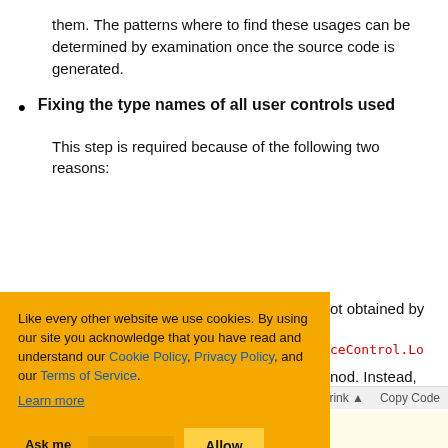them. The patterns where to find these usages can be determined by examination once the source code is generated.
Fixing the type names of all user controls used
This step is required because of the following two reasons:
ot obtained by
ceControl.Lo
nod. Instead, d and
[Figure (other): Cookie consent overlay banner with orange background, containing text 'Like every other website we use cookies. By using our site you acknowledge that you have read and understand our Cookie Policy, Privacy Policy, and our Terms of Service. Learn more' with 'Ask me later', 'Decline', and 'Allow cookies' buttons]
Shrink ▲  Copy Code
ol1_ascx
control3;